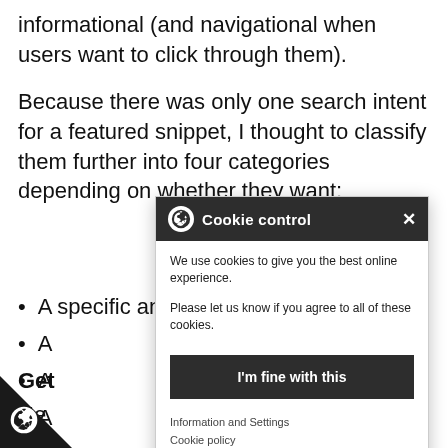informational (and navigational when users want to click through them).
Because there was only one search intent for a featured snippet, I thought to classify them further into four categories depending on whether they want:
A specific answer
A...
A...
A...
[Figure (screenshot): Cookie control popup dialog with dark header showing cookie icon and 'Cookie control' text with X close button. Body text: 'We use cookies to give you the best online experience. Please let us know if you agree to all of these cookies.' Button: 'I'm fine with this'. Links: 'Information and Settings', 'Cookie policy'.]
Get...
He... a question that req... his type of FS as a lower CTR as people come to get a